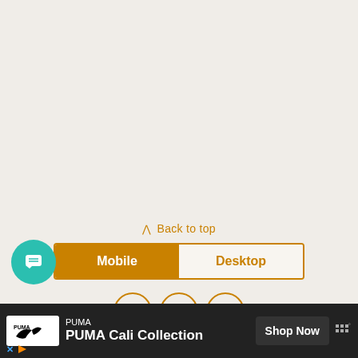[Figure (screenshot): Top beige/cream background section, blank area]
⋀ Back to top
[Figure (other): Toggle bar with Mobile (active, orange) and Desktop tabs]
[Figure (other): Chat bubble icon (teal circle with speech bubble) on left side]
[Figure (other): Social icons: Twitter, Facebook, Email in orange outlined circles]
Follow my blog with Bloglovin
Exclusive Member of Mediavine Travel
[Figure (other): PUMA ad banner: PUMA Cali Collection with Shop Now button]